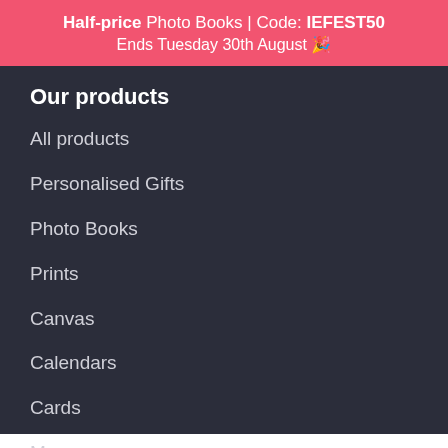Half-price Photo Books | Code: IEFEST50
Ends Tuesday 30th August 🎉
Our products
All products
Personalised Gifts
Photo Books
Prints
Canvas
Calendars
Cards
Mugs